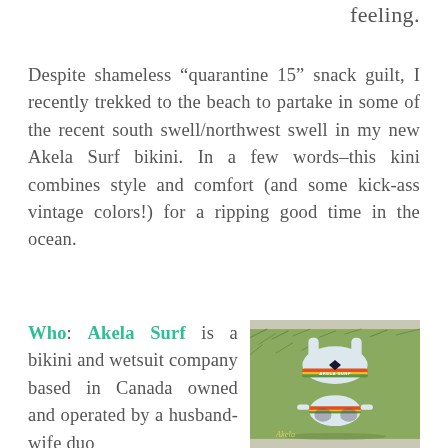feeling.
Despite shameless “quarantine 15” snack guilt, I recently trekked to the beach to partake in some of the recent south swell/northwest swell in my new Akela Surf bikini. In a few words–this kini combines style and comfort (and some kick-ass vintage colors!) for a ripping good time in the ocean.
Who: Akela Surf is a bikini and wetsuit company based in Canada owned and operated by a husband-wife duo
[Figure (photo): Photo of an Akela Surf bikini set laid out on grass, showing a sport top and bottoms with a colorful vintage-style graphic including the AKELA SURF logo in red/orange/yellow.]